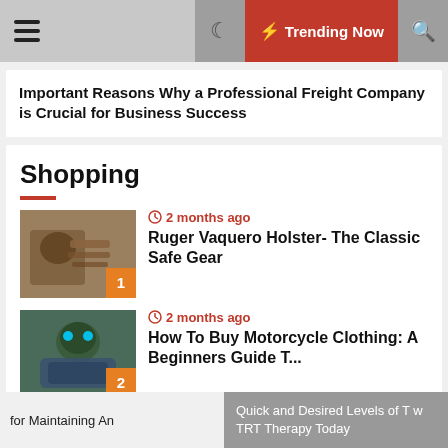Trending Now
Important Reasons Why a Professional Freight Company is Crucial for Business Success
Shopping
2 months ago — Ruger Vaquero Holster- The Classic Safe Gear
2 months ago — How To Buy Motorcycle Clothing: A Beginners Guide T...
for Maintaining An | Quick and Desired Levels of T w TRT Therapy Today